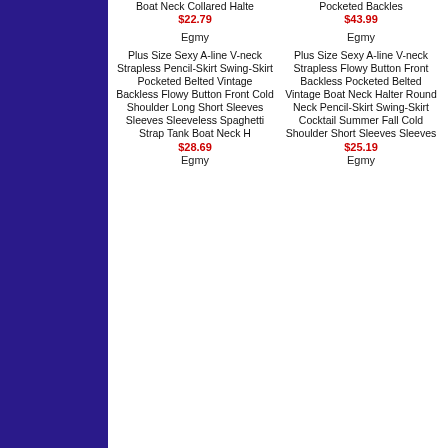[Figure (other): Dark navy/blue sidebar panel on the left side of the page]
Boat Neck Collared Halte
$22.79
Pocketed Backles
$43.99
Egmy
[Figure (photo): Empty white product image placeholder left]
Egmy
[Figure (photo): Empty white product image placeholder right]
Plus Size Sexy A-line V-neck Strapless Pencil-Skirt Swing-Skirt Pocketed Belted Vintage Backless Flowy Button Front Cold Shoulder Long Short Sleeves Sleeves Sleeveless Spaghetti Strap Tank Boat Neck H
$28.69
Egmy
Plus Size Sexy A-line V-neck Strapless Flowy Button Front Backless Pocketed Belted Vintage Boat Neck Halter Round Neck Pencil-Skirt Swing-Skirt Cocktail Summer Fall Cold Shoulder Short Sleeves Sleeves
$25.19
Egmy
[Figure (photo): Empty white product image placeholder bottom left]
[Figure (photo): Empty white product image placeholder bottom right]